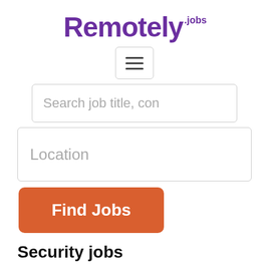[Figure (logo): Remotely.jobs logo in purple text]
[Figure (screenshot): Hamburger menu button with three horizontal lines]
Search job title, con
Location
Find Jobs
Security jobs
Security